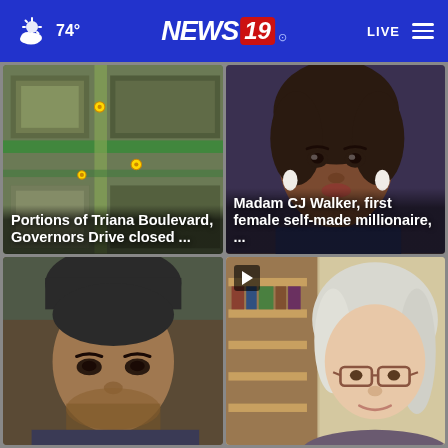74° NEWS 19 LIVE
[Figure (screenshot): Aerial satellite/map view of road intersection with yellow map pins]
Portions of Triana Boulevard, Governors Drive closed ...
[Figure (photo): Close-up of a Barbie doll resembling Madam CJ Walker with curly hair and white earrings]
Madam CJ Walker, first female self-made millionaire, ...
[Figure (photo): Close-up face of a man wearing a dark beanie hat]
[Figure (photo): Close-up of a woman with long silver/blonde hair and glasses, with a video play button overlay]